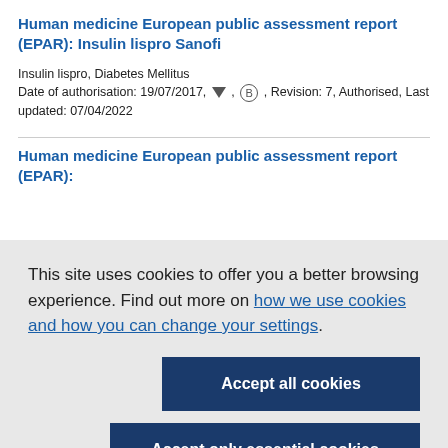Human medicine European public assessment report (EPAR): Insulin lispro Sanofi
Insulin lispro, Diabetes Mellitus
Date of authorisation: 19/07/2017, [triangle], [B], Revision: 7, Authorised, Last updated: 07/04/2022
Human medicine European public assessment report (EPAR):
This site uses cookies to offer you a better browsing experience. Find out more on how we use cookies and how you can change your settings.
Accept all cookies
Accept only essential cookies